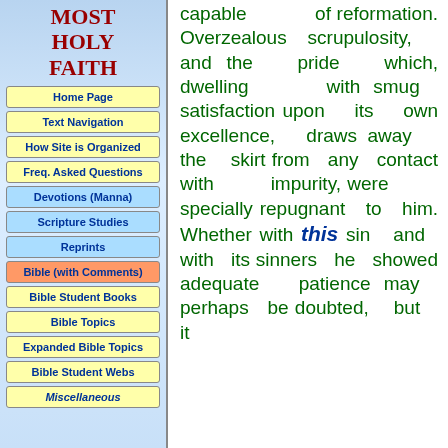MOST HOLY FAITH
Home Page
Text Navigation
How Site is Organized
Freq. Asked Questions
Devotions (Manna)
Scripture Studies
Reprints
Bible (with Comments)
Bible Student Books
Bible Topics
Expanded Bible Topics
Bible Student Webs
Miscellaneous
capable of reformation. Overzealous scrupulosity, and the pride which, dwelling with smug satisfaction upon its own excellence, draws away the skirt from any contact with impurity, were specially repugnant to him. Whether with this sin and with its sinners he showed adequate patience may perhaps be doubted, but it